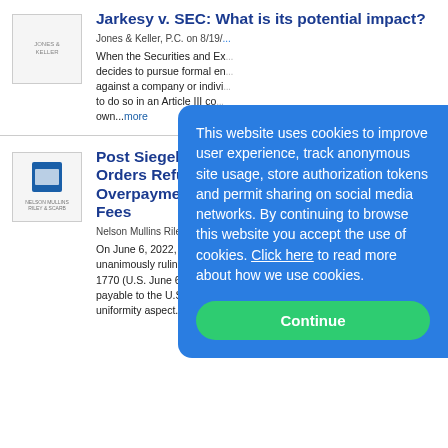Jarkesy v. SEC: What is its potential impact?
Jones & Keller, P.C. on 8/19/...
When the Securities and Exchange Commission decides to pursue formal enforcement actions against a company or individual, it can choose to do so in an Article III court or within its own...more
Post Siegel Ruling Orders Refunds Overpayment of Fees
Nelson Mullins Riley & Scarb...
On June 6, 2022, the Supreme Court unanimously ruling in Siegel v. Fitzgerald, No. 1770 (U.S. June 6, 2022) that the fees payable to the U.S. Trustee system in 2018 violated the uniformity aspect...more
This website uses cookies to improve user experience, track anonymous site usage, store authorization tokens and permit sharing on social media networks. By continuing to browse this website you accept the use of cookies. Click here to read more about how we use cookies.